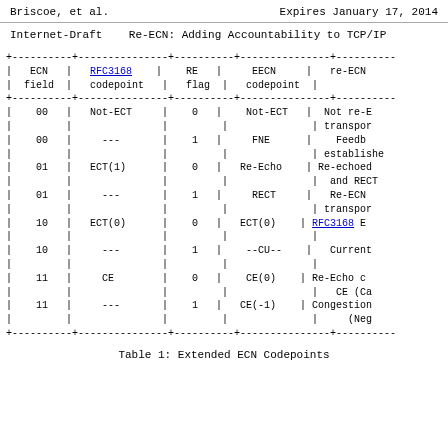Briscoe, et al.        Expires January 17, 2014
Internet-Draft   Re-ECN: Adding Accountability to TCP/IP
| ECN field | RFC3168 codepoint | RE flag | EECN codepoint | re-ECN |
| --- | --- | --- | --- | --- |
| 00 | Not-ECT | 0 | Not-ECT | Not re-E... transpor... |
| 00 | --- | 1 | FNE | Feedb... establishe... |
| 01 | ECT(1) | 0 | Re-Echo | Re-echoed... and RECT... |
| 01 | --- | 1 | RECT | Re-ECN... transpor... |
| 10 | ECT(0) | 0 | ECT(0) | RFC3168 E... |
| 10 | --- | 1 | --CU-- | Current... |
| 11 | CE | 0 | CE(0) | Re-Echo c... CE (Ca... |
| 11 | --- | 1 | CE(-1) | Congestion... (Neg... |
Table 1: Extended ECN Codepoints